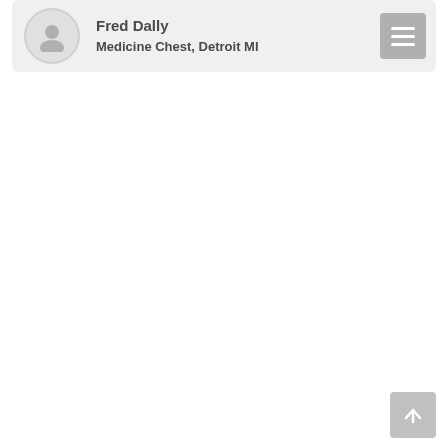[Figure (screenshot): Profile card with avatar icon, name Fred Dally, company Medicine Chest Detroit MI, and hamburger menu button]
Fred Dally
Medicine Chest, Detroit MI
[Figure (other): Scroll-to-top button with upward arrow icon]